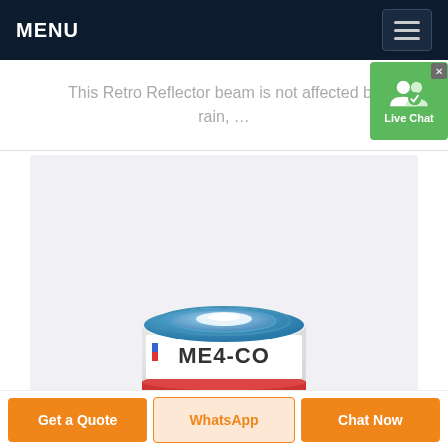MENU
This Retro Reflector beam is not affected by rain, …
[Figure (photo): ME4-CO electrochemical carbon monoxide gas sensor component, cylindrical shape with blue top cap and gold pins at the bottom, label reads ME4-CO]
Get a Quote | WhatsApp | Chat Now